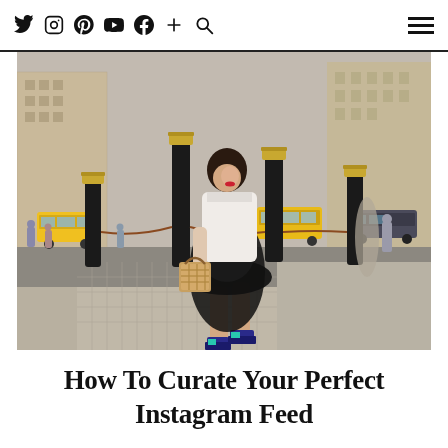Social media icons (Twitter, Instagram, Pinterest, YouTube, Facebook, Plus, Search) and hamburger menu
[Figure (photo): A woman wearing a white blouse, black tulle midi skirt, and colorful platform sandals, carrying a wicker bag, walking on a cobblestone sidewalk in New York City with black bollards and yellow taxis in the background.]
How To Curate Your Perfect Instagram Feed